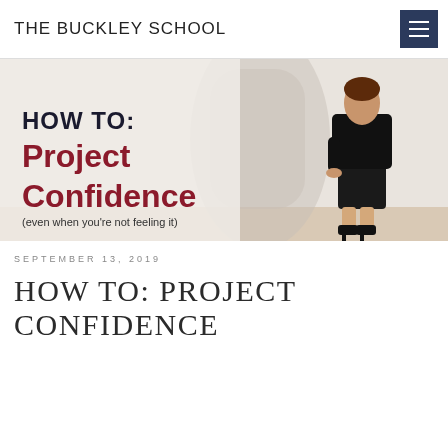THE BUCKLEY SCHOOL
[Figure (illustration): Promotional image with text 'HOW TO: Project Confidence (even when you're not feeling it)' and a woman in a black suit standing with her hand on her hip, casting a shadow on the wall.]
SEPTEMBER 13, 2019
HOW TO: PROJECT CONFIDENCE